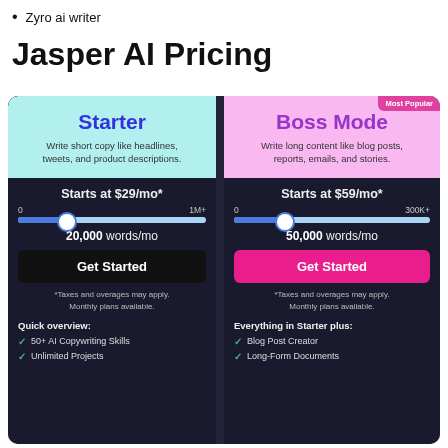Zyro ai writer
Jasper AI Pricing
[Figure (infographic): Pricing comparison for Jasper AI: Starter plan (starts at $29/mo*, 20,000 words/mo, Get Started button, Quick overview: 50+ AI Copywriting Skills, Unlimited Projects) and Boss Mode plan (Most Popular badge, starts at $59/mo*, 50,000 words/mo, Get Started button, Everything in Starter plus: Blog Post Creator, Long-Form Documents)]